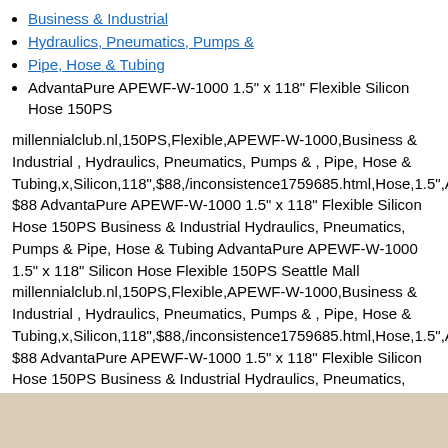Business & Industrial
Hydraulics, Pneumatics, Pumps &
Pipe, Hose & Tubing
AdvantaPure APEWF-W-1000 1.5" x 118" Flexible Silicon Hose 150PS
millennialclub.nl,150PS,Flexible,APEWF-W-1000,Business & Industrial , Hydraulics, Pneumatics, Pumps & , Pipe, Hose & Tubing,x,Silicon,118",$88,/inconsistence1759685.html,Hose,1.5",Ac $88 AdvantaPure APEWF-W-1000 1.5" x 118" Flexible Silicon Hose 150PS Business & Industrial Hydraulics, Pneumatics, Pumps & Pipe, Hose & Tubing AdvantaPure APEWF-W-1000 1.5" x 118" Silicon Hose Flexible 150PS Seattle Mall millennialclub.nl,150PS,Flexible,APEWF-W-1000,Business & Industrial , Hydraulics, Pneumatics, Pumps & , Pipe, Hose & Tubing,x,Silicon,118",$88,/inconsistence1759685.html,Hose,1.5",Ac $88 AdvantaPure APEWF-W-1000 1.5" x 118" Flexible Silicon Hose 150PS Business & Industrial Hydraulics, Pneumatics, Pumps & Pipe, Hose & Tubing AdvantaPure APEWF-W-1000 1.5" x 118" Silicon Hose Flexible 150PS Seattle Mall
[Figure (other): Tan/beige colored rectangle at the bottom of the page]